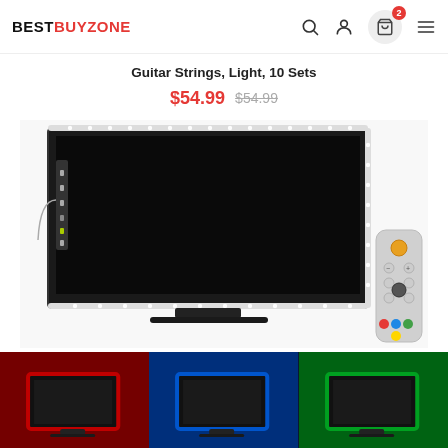BESTBUYZONE
Guitar Strings, Light, 10 Sets
$54.99  $54.99
[Figure (photo): Back of a TV with LED light strips along the edges, showing white LEDs. A remote control is visible to the bottom right.]
[Figure (photo): Three thumbnail images showing a TV backlit with red, blue, and green LED lighting respectively.]